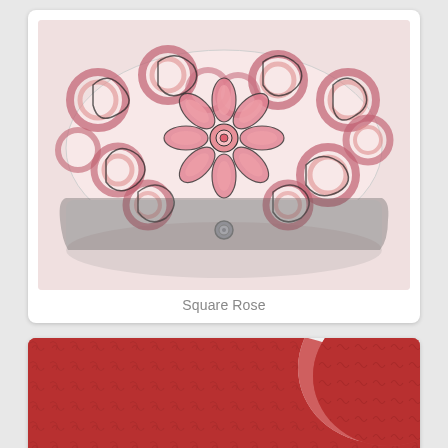[Figure (photo): A decorative fabric clutch/pouch with pink and white circular rose mandala pattern and black outline stitching, with a silver snap closure at center bottom. The item has an elongated oval shape.]
Square Rose
[Figure (photo): Close-up of a deep red/crimson textured fabric with small swirling patterns, showing a curved edge suggesting a rounded fabric piece or pouch.]